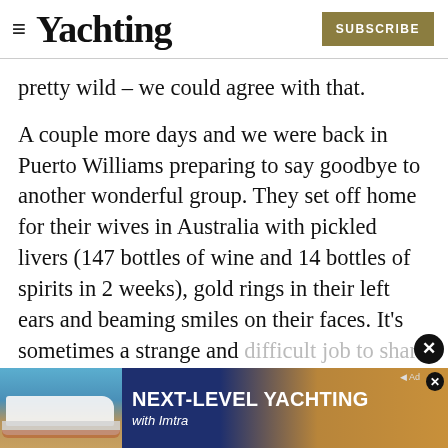Yachting | SUBSCRIBE
pretty wild – we could agree with that.
A couple more days and we were back in Puerto Williams preparing to say goodbye to another wonderful group. They set off home for their wives in Australia with pickled livers (147 bottles of wine and 14 bottles of spirits in 2 weeks), gold rings in their left ears and beaming smiles on their faces. It's sometimes a strange and difficult job to share such intense experiences with them, trust them with your lifeline, or
[Figure (advertisement): Ad banner for Imtra: NEXT-LEVEL YACHTING with Imtra. Shows a yacht on water.]